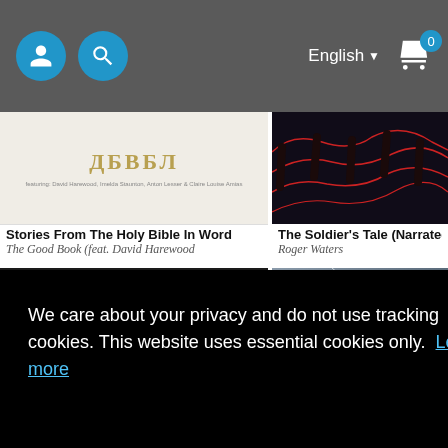[Figure (screenshot): Website header bar with user icon, search icon, English language selector, and shopping cart with 0 items]
[Figure (photo): Album cover for 'Stories From The Holy Bible In Words' by The Good Book (feat. David Harewood) - light background with gothic text]
Stories From The Holy Bible In Word
The Good Book (feat. David Harewood
[Figure (photo): Album cover for 'The Soldier's Tale (Narrated by Roger Waters)' by Roger Waters - dark red seats]
The Soldier's Tale (Narrated by Roge
Roger Waters
[Figure (photo): Dark album cover - second row left]
[Figure (photo): Album cover with Friedrich Hölderlin text - grey textured surface]
We care about your privacy and do not use tracking cookies. This website uses essential cookies only.  Learn more
OK
+ More Albums